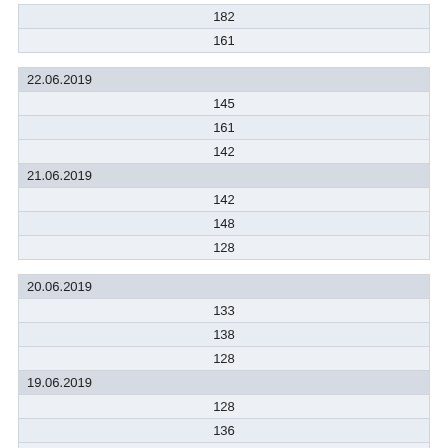| 182 |
| 161 |
| 22.06.2019 |
| --- |
| 145 |
| 161 |
| 142 |
| 21.06.2019 |
| 142 |
| 148 |
| 128 |
| 20.06.2019 |
| --- |
| 133 |
| 138 |
| 128 |
| 19.06.2019 |
| 128 |
| 136 |
| 123 |